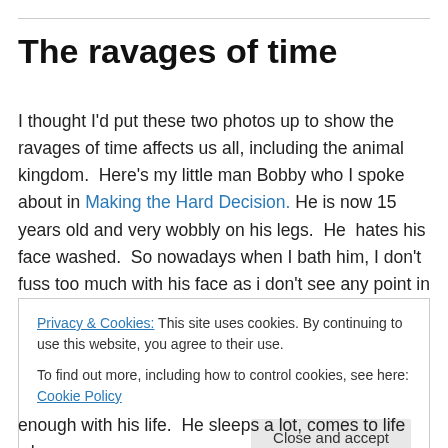The ravages of time
I thought I'd put these two photos up to show the ravages of time affects us all, including the animal kingdom.  Here's my little man Bobby who I spoke about in Making the Hard Decision. He is now 15 years old and very wobbly on his legs.  He  hates his face washed.  So nowadays when I bath him, I don't fuss too much with his face as i don't see any point in putting him through too much stress.  He was once such a beautiful looking dog.  Now he is a very old
Privacy & Cookies: This site uses cookies. By continuing to use this website, you agree to their use.
To find out more, including how to control cookies, see here: Cookie Policy
enough with his life.  He sleeps a lot, comes to life when